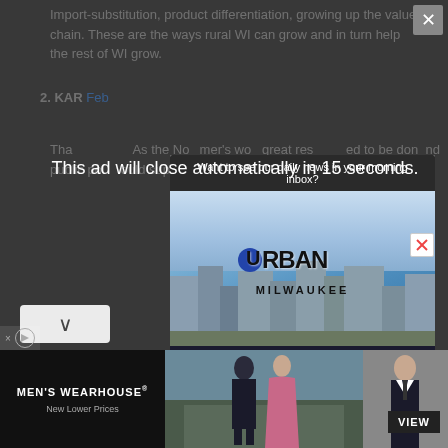Import-substitution, product differentiation, growing up the value chain. These are the ways rural WI can grow and in turn help the rest of WI grow.
2. KAR [name truncated by ad overlay] Feb[ruary date truncated]
Tha[t...] As the Nov[ember...] mer's wo[rk...] great res[earch...] ed to be don[e...] nd public pol[icy...] ould sup[port...] at would req[uire...] not seem to e[xist...]
[Figure (screenshot): Advertisement modal overlay for Urban Milwaukee newsletter subscription. Shows 'This ad will close automatically in 15 seconds.' header, a close X button, 'Want to see our daily news in your morning inbox?' prompt, Urban Milwaukee logo over city skyline photo, and 'Click here to subscribe today!' call to action.]
[Figure (screenshot): Bottom banner advertisement for Men's Wearhouse with 'New Lower Prices' tagline, showing a couple in formalwear and a man in a suit, with a VIEW button.]